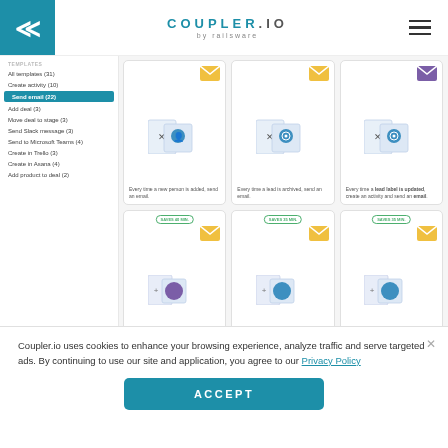COUPLER.IO by railsware
[Figure (screenshot): Coupler.io web application screenshot showing template selection screen with sidebar navigation (TEMPLATES section: All templates (31), Create activity (10), Send email (12) highlighted, Add deal (3), Move deal to stage (3), Send Slack message (3), Send to Microsoft Teams (4), Create in Trello (3), Create in Asana (4), Add product to deal (2)) and a grid of 6 automation template cards related to sending emails]
Select the appropriate template and set it up. Here, for
Coupler.io uses cookies to enhance your browsing experience, analyze traffic and serve targeted ads. By continuing to use our site and application, you agree to our Privacy Policy
ACCEPT